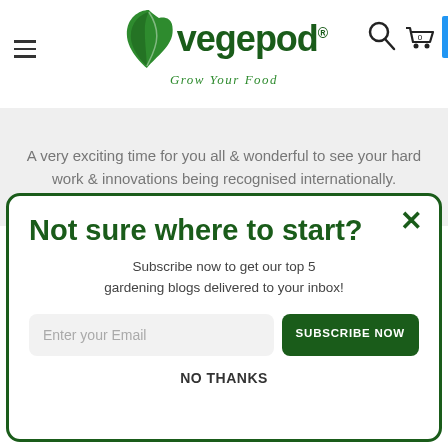[Figure (logo): Vegepod logo with leaf icon and tagline 'Grow Your Food']
A very exciting time for you all & wonderful to see your hard work & innovations being recognised internationally.
Not sure where to start?
Subscribe now to get our top 5 gardening blogs delivered to your inbox!
NO THANKS